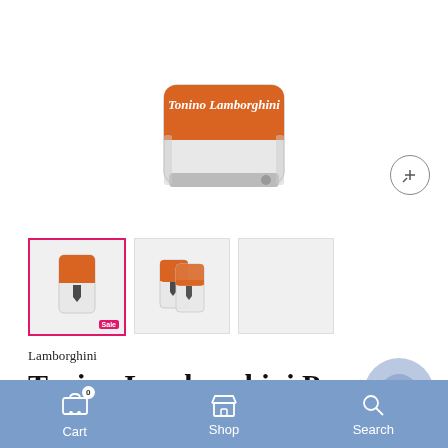[Figure (photo): Tonino Lamborghini lighter, top view showing orange branded top with script logo on white body]
[Figure (photo): Three thumbnail images of the Tonino Lamborghini Pergusa Orange Torch Flame Lighter. First thumbnail active with pink border, second shows two lighters, third is blank/grey.]
Lamborghini
Tonino Lamborghini Pergusa Orange Torch Flame Lighter
SKU: TTR005005
Cart  Shop  Search